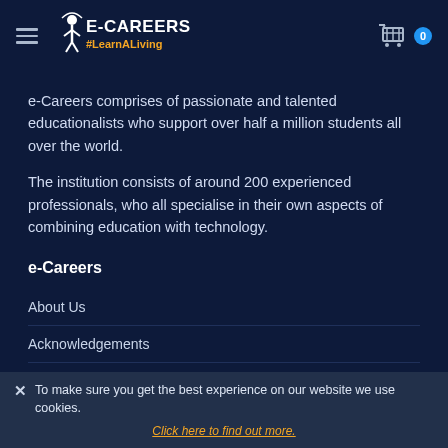E-CAREERS #LearnALiving
e-Careers comprises of passionate and talented educationalists who support over half a million students all over the world.
The institution consists of around 200 experienced professionals, who all specialise in their own aspects of combining education with technology.
e-Careers
About Us
Acknowledgements
Copyright Statement
✕ To make sure you get the best experience on our website we use cookies. Click here to find out more.